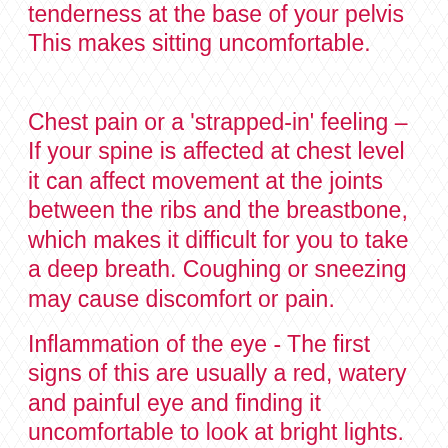tenderness at the base of your pelvis This makes sitting uncomfortable.
Chest pain or a 'strapped-in' feeling – If your spine is affected at chest level it can affect movement at the joints between the ribs and the breastbone, which makes it difficult for you to take a deep breath. Coughing or sneezing may cause discomfort or pain.
Inflammation of the eye - The first signs of this are usually a red, watery and painful eye and finding it uncomfortable to look at bright lights. If this happens,